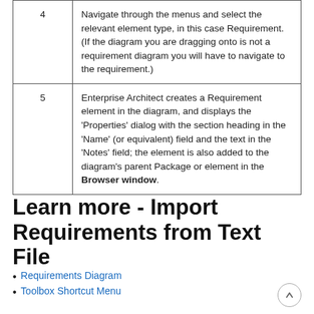| Step | Description |
| --- | --- |
| 4 | Navigate through the menus and select the relevant element type, in this case Requirement. (If the diagram you are dragging onto is not a requirement diagram you will have to navigate to the requirement.) |
| 5 | Enterprise Architect creates a Requirement element in the diagram, and displays the 'Properties' dialog with the section heading in the 'Name' (or equivalent) field and the text in the 'Notes' field; the element is also added to the diagram's parent Package or element in the Browser window. |
Learn more - Import Requirements from Text File
Requirements Diagram
Toolbox Shortcut Menu